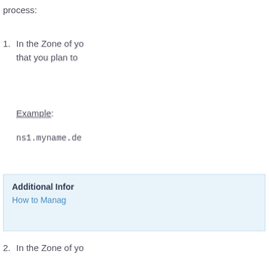process:
In the Zone of yo... that you plan to...
Example: ns1.myname.de
Additional Infor... How to Manag...
In the Zone of yo...
Example: In the... myname.de 384...
Additional Infor...